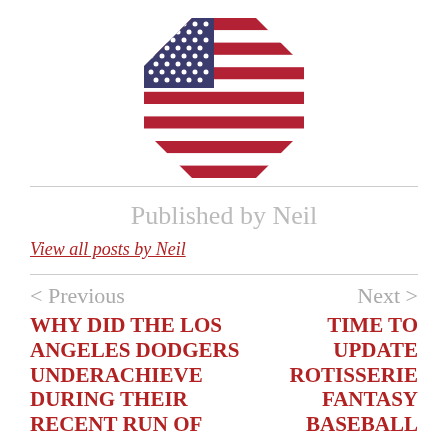[Figure (illustration): American flag in an octagonal clip, centered at top of page]
Published by Neil
View all posts by Neil
< Previous
Next >
WHY DID THE LOS ANGELES DODGERS UNDERACHIEVE DURING THEIR RECENT RUN OF
TIME TO UPDATE ROTISSERIE FANTASY BASEBALL